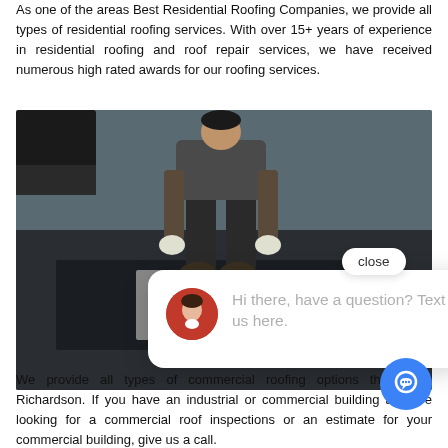As one of the areas Best Residential Roofing Companies, we provide all types of residential roofing services. With over 15+ years of experience in residential roofing and roof repair services, we have received numerous high rated awards for our roofing services.
[Figure (photo): A roofer crouching down and laying/installing dark roofing material on a flat roof surface, wearing work boots and gloves. A chat popup overlay is shown over the lower portion of the image with a close button and a message saying 'Hi there, have a question? Text us here.']
We provide all types of commercial roofing options throughout Richardson. If you have an industrial or commercial building and are looking for a commercial roof inspections or an estimate for your commercial building, give us a call.